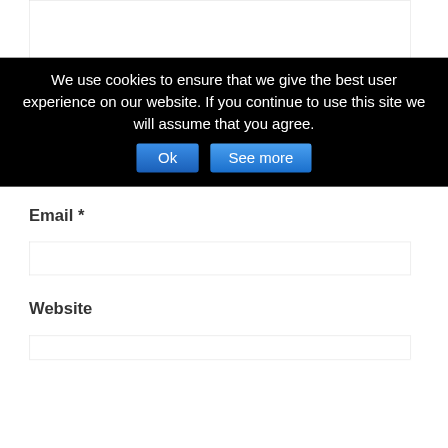[Figure (screenshot): Partial form textarea at top of page with light gray border]
Name *
[Figure (screenshot): Name input field with light gray border]
Email *
[Figure (screenshot): Email input field with light gray border]
Website
[Figure (screenshot): Website input field with light gray border, partially visible]
We use cookies to ensure that we give the best user experience on our website. If you continue to use this site we will assume that you agree.